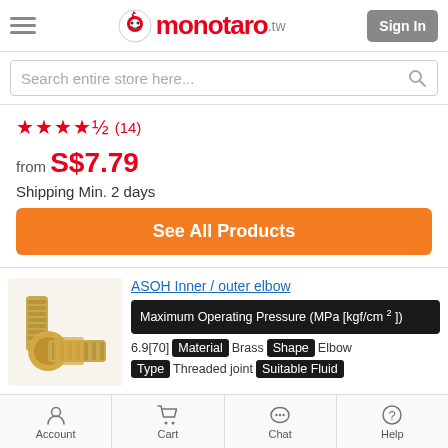monotaro.tw — Sign In
Search entire store here...
★★★★½ (14)
from S$7.79
Shipping Min. 2 days
See All Products
ASOH Inner / outer elbow
Maximum Operating Pressure (MPa [kgf/cm²])
6.9[70]  Material  Brass  Shape  Elbow  Type  Threaded joint  Suitable Fluid
Account   Cart   Chat   Help